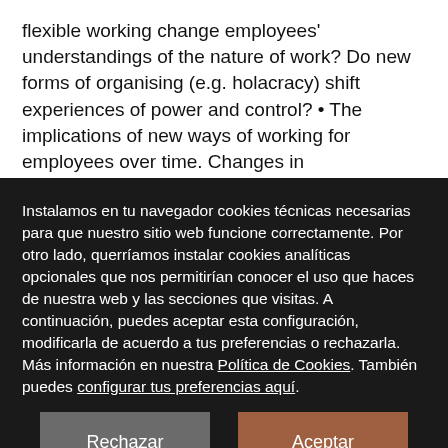flexible working change employees' understandings of the nature of work? Do new forms of organising (e.g. holacracy) shift experiences of power and control? • The implications of new ways of working for employees over time. Changes in
Instalamos en tu navegador cookies técnicas necesarias para que nuestro sitio web funcione correctamente. Por otro lado, querríamos instalar cookies analíticas opcionales que nos permitirían conocer el uso que haces de nuestra web y las secciones que visitas. A continuación, puedes aceptar esta configuración, modificarla de acuerdo a tus preferencias o rechazarla. Más información en nuestra Política de Cookies. También puedes configurar tus preferencias aquí.